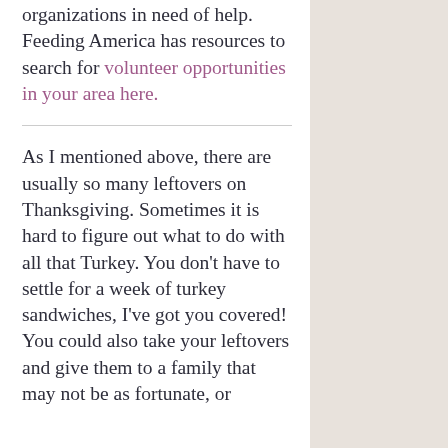organizations in need of help. Feeding America has resources to search for volunteer opportunities in your area here.
As I mentioned above, there are usually so many leftovers on Thanksgiving. Sometimes it is hard to figure out what to do with all that Turkey. You don't have to settle for a week of turkey sandwiches, I've got you covered! You could also take your leftovers and give them to a family that may not be as fortunate, or